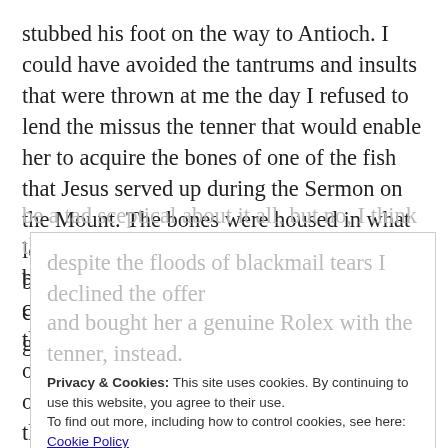stubbed his foot on the way to Antioch. I could have avoided the tantrums and insults that were thrown at me the day I refused to lend the missus the tenner that would enable her to acquire the bones of one of the fish that Jesus served up during the Sermon on the Mount. The bones were housed in what looked to be an ancient, worm-riddled box, but the stamp bearing the name of a cigar company from Havana was a bit of a giveaway. So, despite the floods of blackmail tears I declined the offer and bought her a genuine Rolex with the tenner, instead.
Privacy & Cookies: This site uses cookies. By continuing to use this website, you agree to their use.
To find out more, including how to control cookies, see here: Cookie Policy
Close and accept
Now then, you'd think, after reading this, that I might be a tad sceptical about it all, but no, I think there may be more to this than meets my normal, cynical eye. Some people can put themselves into deep trances and while most of them don't become trapped for a couple of centuries I'm quite prepared to believe that one or two